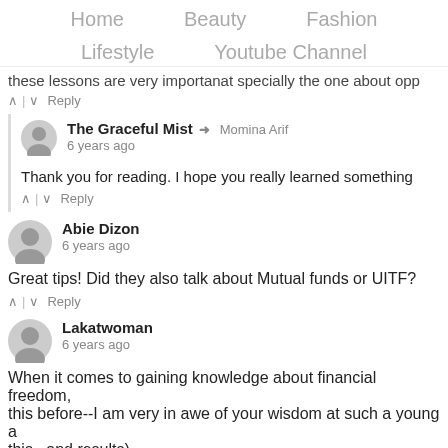Home   Beauty   Fashion
Lifestyle   Youtube Channel
these lessons are very importanat specially the one about opp
^ | v  Reply
The Graceful Mist → Momina Arif
6 years ago
Thank you for reading. I hope you really learned something
^ | v  Reply
Abie Dizon
6 years ago
Great tips! Did they also talk about Mutual funds or UITF?
^ | v  Reply
Lakatwoman
6 years ago
When it comes to gaining knowledge about financial freedom, this before--I am very in awe of your wisdom at such a young a this...and results)